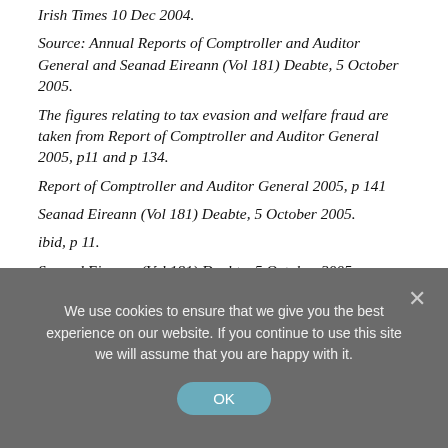Irish Times 10 Dec 2004.
Source: Annual Reports of Comptroller and Auditor General and Seanad Eireann (Vol 181) Deabte, 5 October 2005.
The figures relating to tax evasion and welfare fraud are taken from Report of Comptroller and Auditor General 2005, p11 and p 134.
Report of Comptroller and Auditor General 2005, p 141
Seanad Eireann (Vol 181) Deabte, 5 October 2005.
ibid, p 11.
Seanad Eireann (Vol 181) Deabte, 5 October 2005
H Croall, White Collar Crime, Buckingham: Open University Press, 1992 p3.
We use cookies to ensure that we give you the best experience on our website. If you continue to use this site we will assume that you are happy with it.